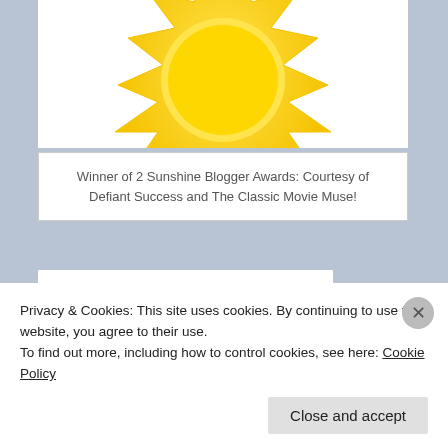[Figure (illustration): Sunshine blogger award sun graphic — large yellow spiky sun shape, partially cropped at top]
Winner of 2 Sunshine Blogger Awards: Courtesy of Defiant Success and The Classic Movie Muse!
[Figure (logo): The Classic Movie Muse logo — crown/sun zigzag outline in gold with the word THE in serif font]
Privacy & Cookies: This site uses cookies. By continuing to use this website, you agree to their use.
To find out more, including how to control cookies, see here: Cookie Policy
Close and accept